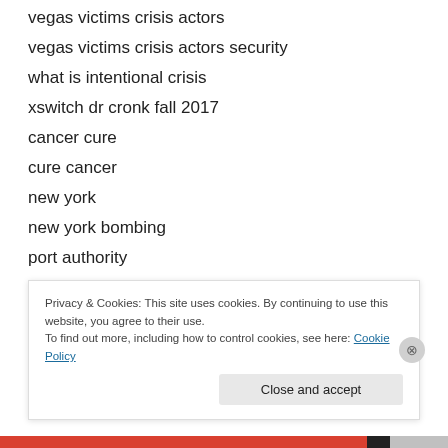vegas victims crisis actors
vegas victims crisis actors security
what is intentional crisis
xswitch dr cronk fall 2017
cancer cure
cure cancer
new york
new york bombing
port authority
new york explosion
new york city
Privacy & Cookies: This site uses cookies. By continuing to use this website, you agree to their use.
To find out more, including how to control cookies, see here: Cookie Policy